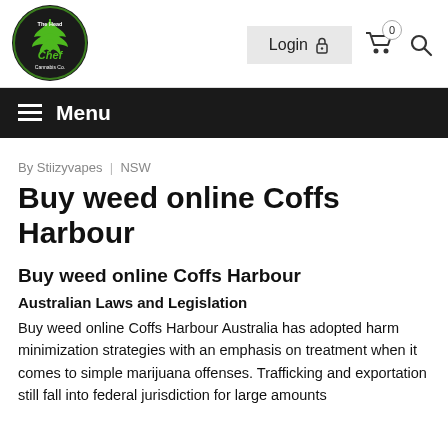[Figure (logo): The Head Chef Cannabis Co. circular logo with cannabis leaf graphic, green and black colors]
Login 🔒
☰ Menu
By Stiizyvapes  |  NSW
Buy weed online Coffs Harbour
Buy weed online Coffs Harbour
Australian Laws and Legislation
Buy weed online Coffs Harbour Australia has adopted harm minimization strategies with an emphasis on treatment when it comes to simple marijuana offenses. Trafficking and exportation still fall into federal jurisdiction for large amounts